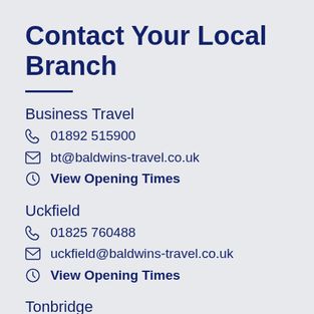Contact Your Local Branch
Business Travel
☎ 01892 515900
✉ bt@baldwins-travel.co.uk
🕐 View Opening Times
Uckfield
☎ 01825 760488
✉ uckfield@baldwins-travel.co.uk
🕐 View Opening Times
Tonbridge
☎ 01732 351223
✉ tonbridge@baldwins-travel.co.uk
🕐 View Opening Times